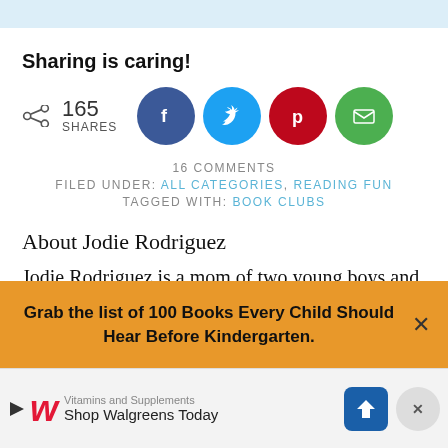Sharing is caring!
[Figure (infographic): Share count showing 165 SHARES with social media buttons for Facebook, Twitter, Pinterest, and Email]
16 COMMENTS
FILED UNDER: ALL CATEGORIES, READING FUN
TAGGED WITH: BOOK CLUBS
About Jodie Rodriguez
Jodie Rodriguez is a mom of two young boys and an early childhood/elementary educator with over 20
Grab the list of 100 Books Every Child Should Hear Before Kindergarten.
Vitamins and Supplements
Shop Walgreens Today